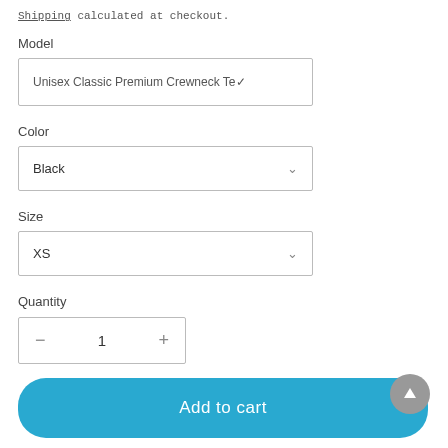Shipping calculated at checkout.
Model
Unisex Classic Premium Crewneck Te▾
Color
Black
Size
XS
Quantity
- 1 +
Add to cart